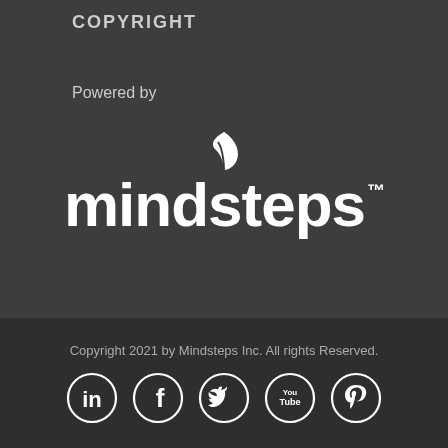COPYRIGHT
Powered by
[Figure (logo): Mindsteps logo — a leaf icon above the word 'mindsteps' in white bold sans-serif with a TM superscript]
Copyright 2021 by Mindsteps Inc. All rights Reserved.
[Figure (infographic): Row of 5 social media icons in white circles: LinkedIn, Facebook, Twitter, YouTube, Pinterest]